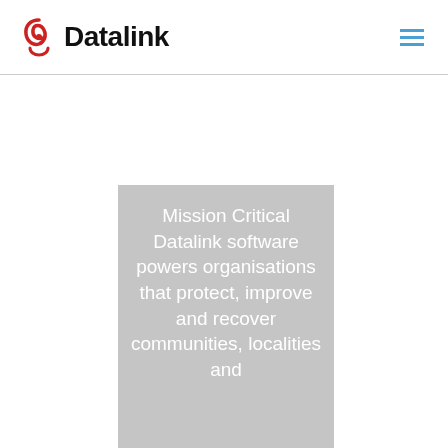[Figure (logo): Datalink logo with red circular swirl icon and bold black Datalink text]
[Figure (other): Hamburger menu icon with three blue horizontal lines]
Mission Critical Datalink software powers organisations that protect, improve and recover communities, localities and